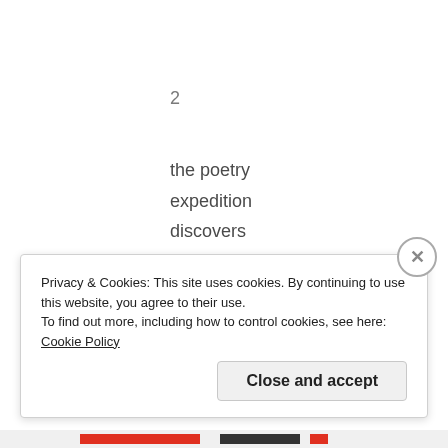2
the poetry expedition discovers a spare sky for unused stars
Privacy & Cookies: This site uses cookies. By continuing to use this website, you agree to their use.
To find out more, including how to control cookies, see here: Cookie Policy
Close and accept